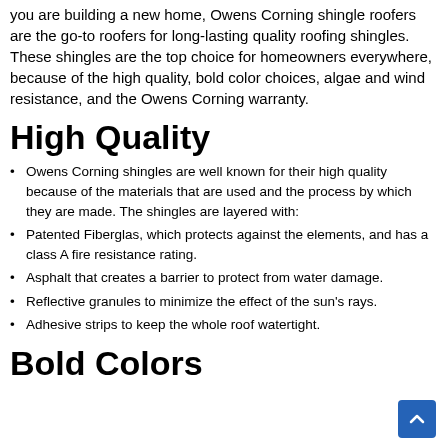you are building a new home, Owens Corning shingle roofers are the go-to roofers for long-lasting quality roofing shingles. These shingles are the top choice for homeowners everywhere, because of the high quality, bold color choices, algae and wind resistance, and the Owens Corning warranty.
High Quality
Owens Corning shingles are well known for their high quality because of the materials that are used and the process by which they are made. The shingles are layered with:
Patented Fiberglas, which protects against the elements, and has a class A fire resistance rating.
Asphalt that creates a barrier to protect from water damage.
Reflective granules to minimize the effect of the sun's rays.
Adhesive strips to keep the whole roof watertight.
Bold Colors